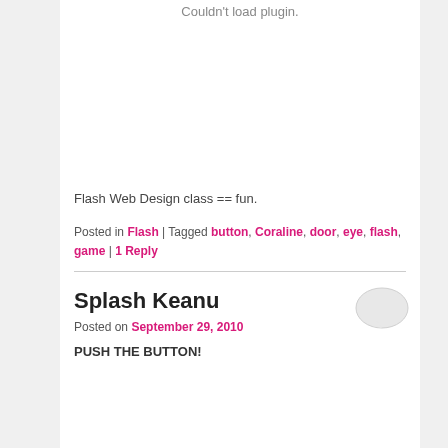Couldn't load plugin.
Flash Web Design class == fun.
Posted in Flash | Tagged button, Coraline, door, eye, flash, game | 1 Reply
Splash Keanu
Posted on September 29, 2010
PUSH THE BUTTON!